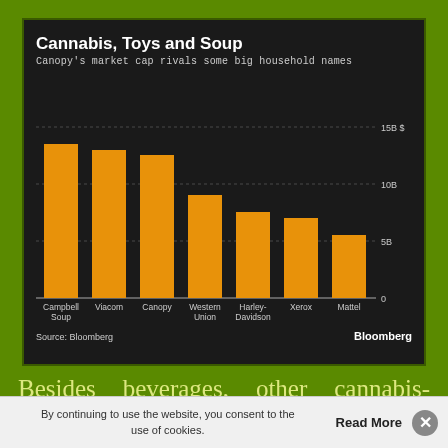[Figure (bar-chart): Cannabis, Toys and Soup]
Besides beverages, other cannabis-related products include beauty products, dog treats, cannabis oil, and even cannabis chocolates! All this simply means major growth in the related
By continuing to use the website, you consent to the use of cookies.